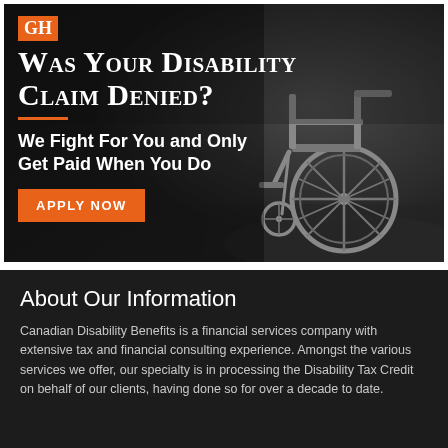[Figure (photo): Dark moody photo of a wheelchair on a path with a blurred outdoor background, with overlay text and branding for Canadian disability benefits law firm]
Was Your Disability Claim Denied?
We Fight For You and Only Get Paid When You Do
APPLY NOW
About Our Information
Canadian Disability Benefits is a financial services company with extensive tax and financial consulting experience. Amongst the various services we offer, our specialty is in processing the Disability Tax Credit on behalf of our clients, having done so for over a decade to date.